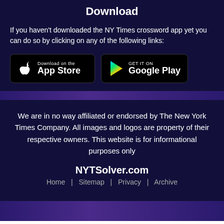Download
If you haven't downloaded the NY Times crossword app yet you can do so by clicking on any of the following links:
[Figure (screenshot): App Store and Google Play download badge buttons]
We are in no way affiliated or endorsed by The New York Times Company. All images and logos are property of their respective owners. This website is for informational purposes only
NYTSolver.com
Home | Sitemap | Privacy | Archive